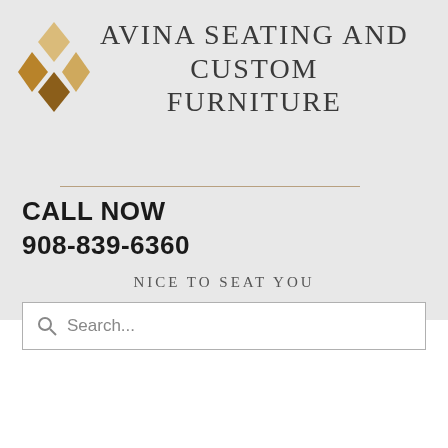[Figure (logo): Diamond-shaped logo with tan and brown geometric diamond shapes, alongside company name text]
AVINA SEATING AND CUSTOM FURNITURE
CALL NOW
908-839-6360
NICE TO SEAT YOU
[Figure (screenshot): Search input box with placeholder text 'Search...' and search icon]
[Figure (screenshot): Brown banner section with green circle profile avatar showing letter P, Follow button, three-dot menu, and blue floating action button with three dots]